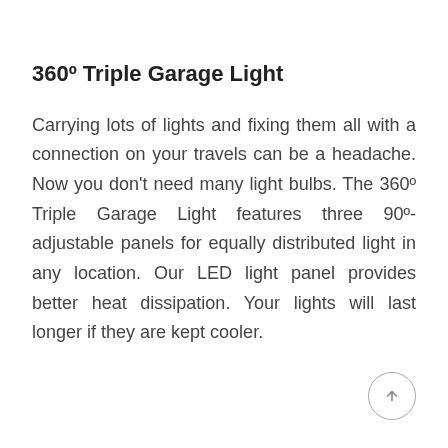360º Triple Garage Light
Carrying lots of lights and fixing them all with a connection on your travels can be a headache. Now you don't need many light bulbs. The 360º Triple Garage Light features three 90º-adjustable panels for equally distributed light in any location. Our LED light panel provides better heat dissipation. Your lights will last longer if they are kept cooler.